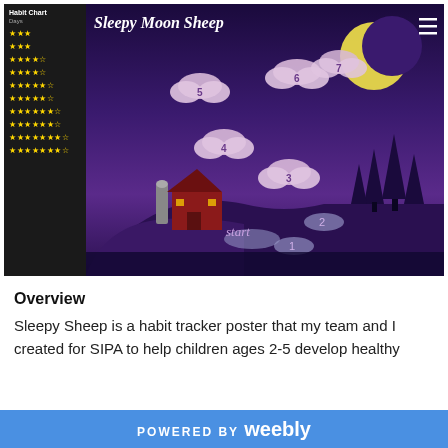[Figure (screenshot): Screenshot of Sleepy Moon Sheep app showing a habit chart sidebar on the left with star rows, a purple night sky scene with a crescent moon, numbered clouds (1-7), a red barn, trees, hills, and game path markers labeled Start through 2.]
Overview
Sleepy Sheep is a habit tracker poster that my team and I created for SIPA to help children ages 2-5 develop healthy
POWERED BY weebly